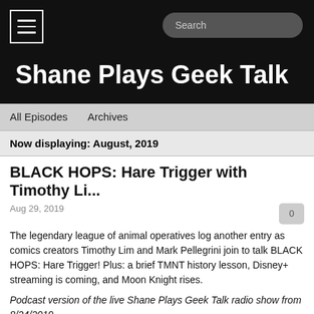Shane Plays Geek Talk
All Episodes   Archives
Now displaying: August, 2019
BLACK HOPS: Hare Trigger with Timothy Li...
Aug 29, 2019
The legendary league of animal operatives log another entry as comics creators Timothy Lim and Mark Pellegrini join to talk BLACK HOPS: Hare Trigger! Plus: a brief TMNT history lesson, Disney+ streaming is coming, and Moon Knight rises.
Podcast version of the live Shane Plays Geek Talk radio show from 8/24/2019
Shane Plays airs on Saturdays at 1 PM Central on 101.1 FM The Answer in Little Rock. It can also be heard online at http://1011fmtheanswer.com. Call in